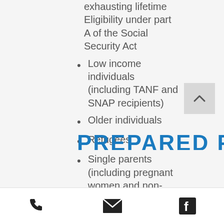exhausting lifetime Eligibility under part A of the Social Security Act
Low income individuals (including TANF and SNAP recipients)
Older individuals
Refugees
Single parents (including pregnant women and non-custodial parents)
Veterans
Women
Youth who are in or who have aged our of the foster care system
PREPARED FOR
phone | email | facebook